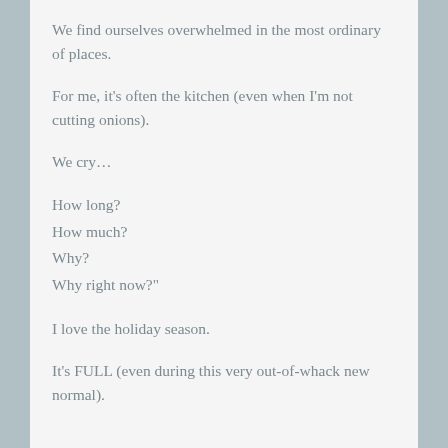We find ourselves overwhelmed in the most ordinary of places.
For me, it's often the kitchen (even when I'm not cutting onions).
We cry…
How long?
How much?
Why?
Why right now?"
I love the holiday season.
It's FULL (even during this very out-of-whack new normal).